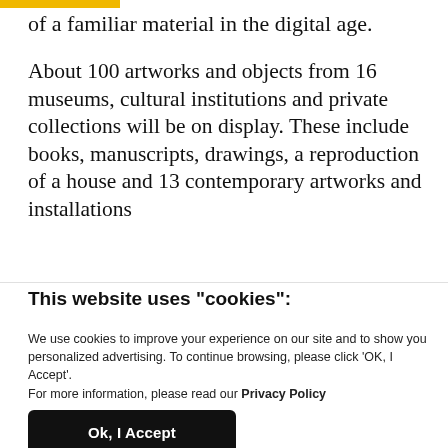of a familiar material in the digital age.
About 100 artworks and objects from 16 museums, cultural institutions and private collections will be on display. These include books, manuscripts, drawings, a reproduction of a house and 13 contemporary artworks and installations
This website uses "cookies":
We use cookies to improve your experience on our site and to show you personalized advertising. To continue browsing, please click 'OK, I Accept'.
For more information, please read our Privacy Policy
Ok, I Accept